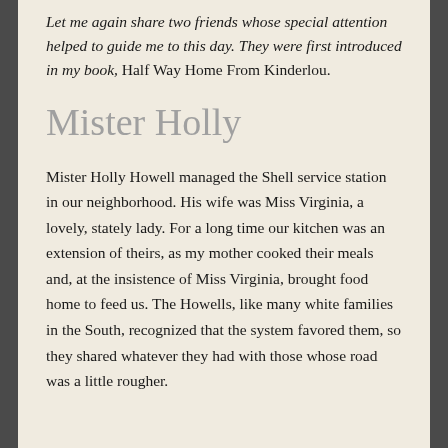Let me again share two friends whose special attention helped to guide me to this day. They were first introduced in my book, Half Way Home From Kinderlou.
Mister Holly
Mister Holly Howell managed the Shell service station in our neighborhood. His wife was Miss Virginia, a lovely, stately lady. For a long time our kitchen was an extension of theirs, as my mother cooked their meals and, at the insistence of Miss Virginia, brought food home to feed us. The Howells, like many white families in the South, recognized that the system favored them, so they shared whatever they had with those whose road was a little rougher.